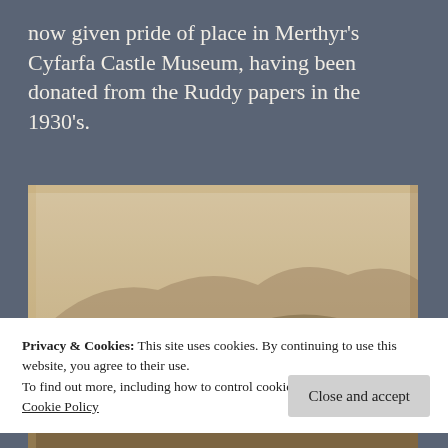now given pride of place in Merthyr's Cyfarfa Castle Museum, having been donated from the Ruddy papers in the 1930's.
[Figure (illustration): Historical pencil sketch/drawing of an industrial town (likely Merthyr Tydfil) showing buildings, chimneys, and hills in the background. Sepia/brown toned.]
Privacy & Cookies: This site uses cookies. By continuing to use this website, you agree to their use.
To find out more, including how to control cookies, see here: Cookie Policy